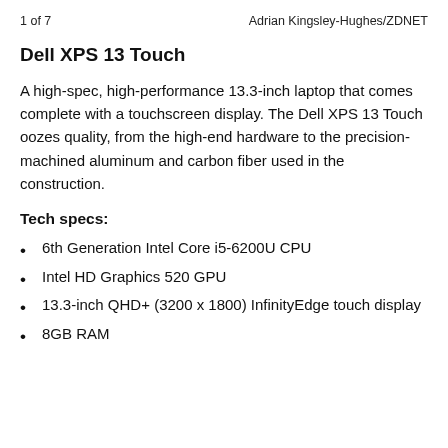1 of 7 Adrian Kingsley-Hughes/ZDNET
Dell XPS 13 Touch
A high-spec, high-performance 13.3-inch laptop that comes complete with a touchscreen display. The Dell XPS 13 Touch oozes quality, from the high-end hardware to the precision-machined aluminum and carbon fiber used in the construction.
Tech specs:
6th Generation Intel Core i5-6200U CPU
Intel HD Graphics 520 GPU
13.3-inch QHD+ (3200 x 1800) InfinityEdge touch display
8GB RAM